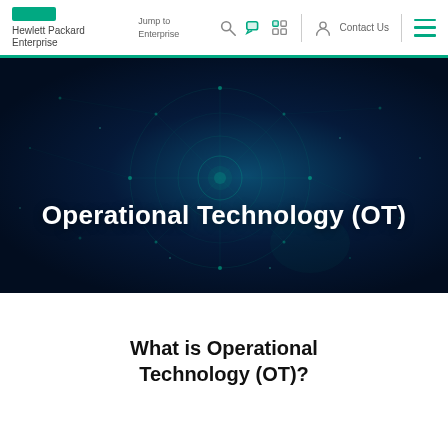Hewlett Packard Enterprise | Jump to Enterprise | Contact Us
[Figure (photo): Dark blue network/technology background with glowing teal circuit-like lines and nodes forming a circular pattern, suggesting digital connectivity]
Operational Technology (OT)
What is Operational Technology (OT)?